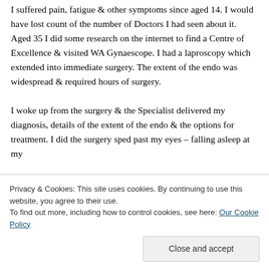I suffered pain, fatigue & other symptoms since aged 14. I would have lost count of the number of Doctors I had seen about it. Aged 35 I did some research on the internet to find a Centre of Excellence & visited WA Gynaescope. I had a laproscopy which extended into immediate surgery. The extent of the endo was widespread & required hours of surgery.

I woke up from the surgery & the Specialist delivered my diagnosis, details of the extent of the endo & the options for treatment. I did the surgery sped past my eyes – falling asleep at my
Privacy & Cookies: This site uses cookies. By continuing to use this website, you agree to their use.
To find out more, including how to control cookies, see here: Our Cookie Policy
Close and accept